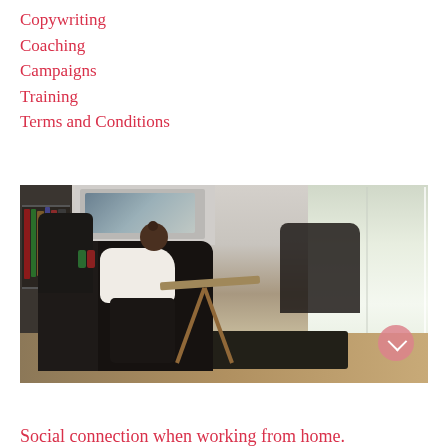Copywriting
Coaching
Campaigns
Training
Terms and Conditions
[Figure (photo): A woman sitting in a black leather chair working on a laptop on a folding wooden desk stand, in a bright home office/living room with a bookshelf on the left and large windows on the right letting in natural light. A pink circular button overlay appears in the bottom right of the image.]
Social connection when working from home.